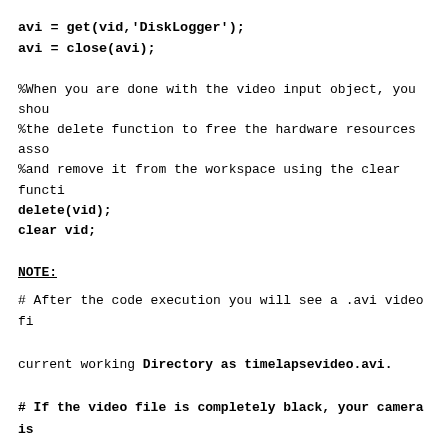avi = get(vid,'DiskLogger');
avi = close(avi);
%When you are done with the video input object, you shou
%the delete function to free the hardware resources asso
%and remove it from the workspace using the clear functi
delete(vid);
clear vid;
NOTE:
# After the code execution you will see a .avi video fi
current working Directory as timelapsevideo.avi.
# If the video file is completely black, your camera is
warm up time to start off. So give delay of 1-2 seconds
step.
# The following error/warning can also arise, the 1st o
"avifile" function is obsolete now & MATLAB has decided